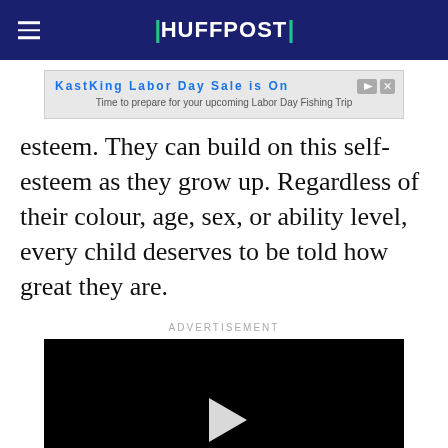HUFFPOST
[Figure (other): KastKing Labor Day Sale advertisement banner with play and close icons. Subtext: Time to prepare for your upcoming Labor Day Fishing Trip]
esteem. They can build on this self-esteem as they grow up. Regardless of their colour, age, sex, or ability level, every child deserves to be told how great they are.
ADVERTISEMENT
[Figure (other): Black video player with white play button triangle in center]